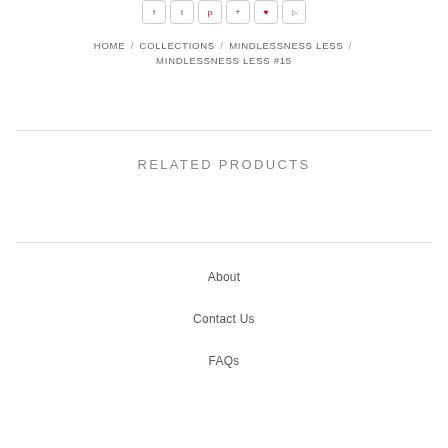Social share icons
HOME / COLLECTIONS / MINDLESSNESS LESS / MINDLESSNESS LESS #15
RELATED PRODUCTS
About
Contact Us
FAQs